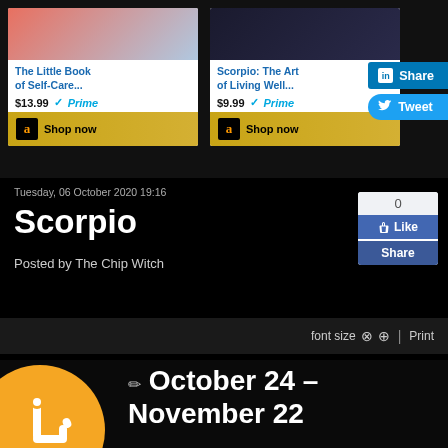[Figure (screenshot): Amazon product card for 'The Little Book of Self-Care...' priced at $13.99 with Prime badge and Shop now button]
[Figure (screenshot): Amazon product card for 'Scorpio: The Art of Living Well...' priced at $9.99 with Prime badge and Shop now button]
[Figure (screenshot): LinkedIn Share button and Twitter Tweet button]
Tuesday, 06 October 2020 19:16
Scorpio
Posted by The Chip Witch
[Figure (screenshot): Facebook Like and Share buttons with count 0]
font size   |  Print
[Figure (illustration): Scorpio orange zodiac symbol circle with white scorpion icon, and text 'October 24 – November 22']